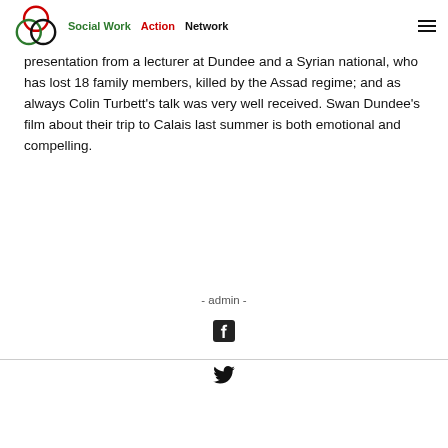Social Work Action Network
presentation from a lecturer at Dundee and a Syrian national, who has lost 18 family members, killed by the Assad regime; and as always Colin Turbett's talk was very well received. Swan Dundee's film about their trip to Calais last summer is both emotional and compelling.
Watch it here.
- admin -
[Figure (other): Facebook social share icon (white F on dark background)]
[Figure (other): Twitter social share icon (bird silhouette)]